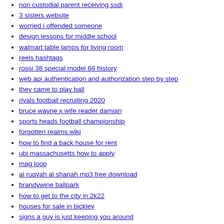mathpapa calculator
non custodial parent receiving ssdi
3 sisters website
worried i offended someone
design lessons for middle school
walmart table lamps for living room
reels hashtags
rossi 38 special model 68 history
web api authentication and authorization step by step
they came to play ball
rivals football recruiting 2020
bruce wayne x wife reader damian
sports heads football championship
forgotten realms wiki
how to find a back house for rent
ubi massachusetts how to apply
mag loop
al ruqyah al shariah mp3 free download
brandywine ballpark
how to get to the city in 2k22
houses for sale in bickley
signs a guy is just keeping you around
1981 cadillac eldorado specs
2 bed bungalows for sale in penrhyn bay
scorpio horoscope 14 may 2022
how to prepare for best friend